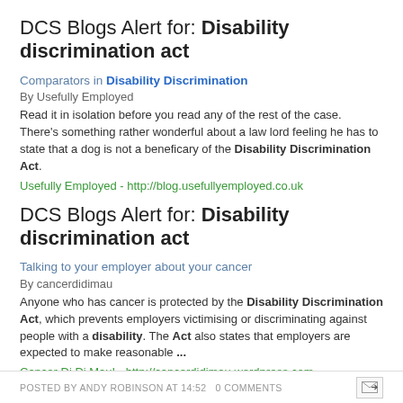DCS Blogs Alert for: Disability discrimination act
Comparators in Disability Discrimination
By Usefully Employed
Read it in isolation before you read any of the rest of the case. There's something rather wonderful about a law lord feeling he has to state that a dog is not a beneficary of the Disability Discrimination Act.
Usefully Employed - http://blog.usefullyemployed.co.uk
DCS Blogs Alert for: Disability discrimination act
Talking to your employer about your cancer
By cancerdidimau
Anyone who has cancer is protected by the Disability Discrimination Act, which prevents employers victimising or discriminating against people with a disability. The Act also states that employers are expected to make reasonable ...
Cancer Di Di Mau! - http://cancerdidimau.wordpress.com
POSTED BY ANDY ROBINSON AT 14:52   0 comments